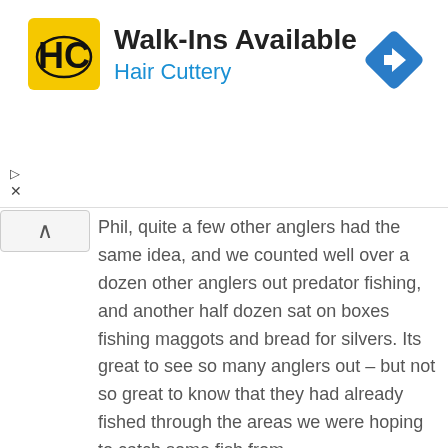[Figure (logo): Hair Cuttery advertisement banner with HC logo, Walk-Ins Available headline, Hair Cuttery subtitle, and navigation arrow icon]
Phil, quite a few other anglers had the same idea, and we counted well over a dozen other anglers out predator fishing, and another half dozen sat on boxes fishing maggots and bread for silvers. Its great to see so many anglers out – but not so great to know that they had already fished through the areas we were hoping to catch some fish from.
Undeterred, we cracked on, walked a mile or so without any action and then found a shoal of small perch lurking in the oxygenated waters of a sluice/race pool below a lock.